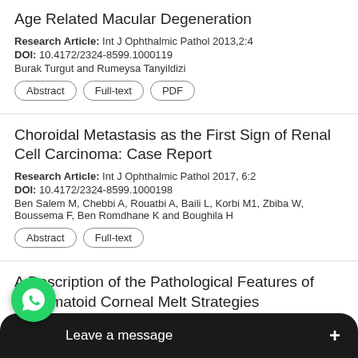Age Related Macular Degeneration
Research Article: Int J Ophthalmic Pathol 2013,2:4
DOI: 10.4172/2324-8599.1000119
Burak Turgut and Rumeysa Tanyildizi
Abstract | Full-text | PDF
Choroidal Metastasis as the First Sign of Renal Cell Carcinoma: Case Report
Research Article: Int J Ophthalmic Pathol 2017, 6:2
DOI: 10.4172/2324-8599.1000198
Ben Salem M, Chebbi A, Rouatbi A, Baili L, Korbi M1, Zbiba W, Boussema F, Ben Romdhane K and Boughila H
Abstract | Full-text
A Description of the Pathological Features of Rheumatoid Corneal Melt Strategies
Clinical Image: Int J Ophthalmic Pathol
DOI: 10.4172/2324-8599.1000161
[Figure (screenshot): WhatsApp floating button and 'Leave a message' overlay bar at the bottom of the page]